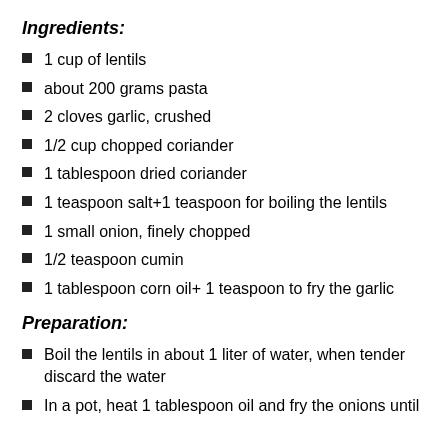Ingredients:
1 cup of lentils
about 200 grams pasta
2 cloves garlic, crushed
1/2 cup chopped coriander
1 tablespoon dried coriander
1 teaspoon salt+1 teaspoon for boiling the lentils
1 small onion, finely chopped
1/2 teaspoon cumin
1 tablespoon corn oil+ 1 teaspoon to fry the garlic
Preparation:
Boil the lentils in about 1 liter of water, when tender discard the water
In a pot, heat 1 tablespoon oil and fry the onions until